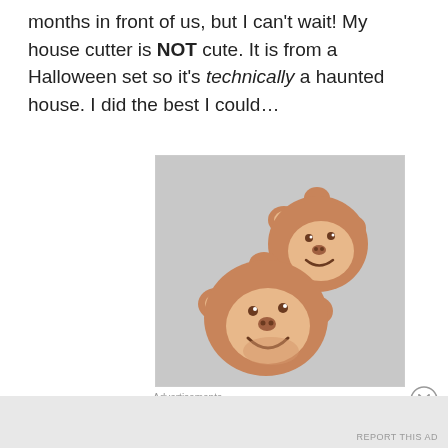months in front of us, but I can't wait! My house cutter is NOT cute. It is from a Halloween set so it's technically a haunted house. I did the best I could…
[Figure (photo): Two monkey-shaped sugar cookies with tan/brown icing, decorated with smiling monkey faces, on a light gray surface.]
Advertisements
Advertisements